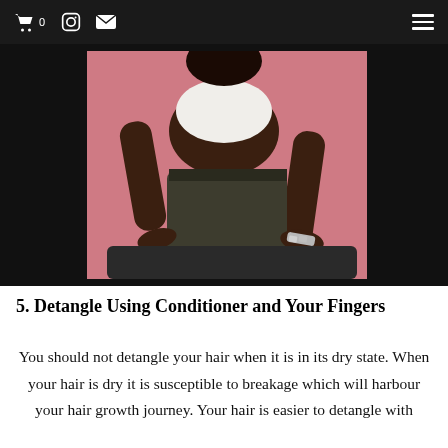🛒 0  [Instagram icon]  [Email icon]  [Hamburger menu]
[Figure (photo): A person wearing a white top and dark olive/khaki trousers sitting on a dark surface against a pink background, leaning forward with hands resting on a surface, wearing a silver bracelet.]
5. Detangle Using Conditioner and Your Fingers
You should not detangle your hair when it is in its dry state. When your hair is dry it is susceptible to breakage which will harbour your hair growth journey. Your hair is easier to detangle with